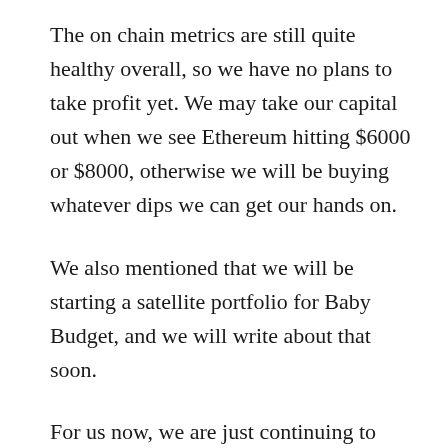The on chain metrics are still quite healthy overall, so we have no plans to take profit yet. We may take our capital out when we see Ethereum hitting $6000 or $8000, otherwise we will be buying whatever dips we can get our hands on.
We also mentioned that we will be starting a satellite portfolio for Baby Budget, and we will write about that soon.
For us now, we are just continuing to accumulate quality crypto, with our CPF and US stocks acting as the conservative portion of our portfolio, while crypto becomes the growth portion of our portfolio. If crypto do crash, we do foresee us even liquidating our US